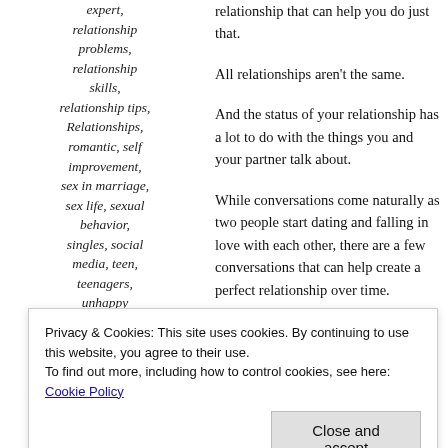expert, relationship problems, relationship skills, relationship tips, Relationships, romantic, self improvement, sex in marriage, sex life, sexual behavior, singles, social media, teen, teenagers, unhappy
relationship that can help you do just that.
All relationships aren't the same.
And the status of your relationship has a lot to do with the things you and your partner talk about.
While conversations come naturally as two people start dating and falling in love with each other, there are a few conversations that can help create a perfect relationship over time.
So are you in a new relationship?
Privacy & Cookies: This site uses cookies. By continuing to use this website, you agree to their use. To find out more, including how to control cookies, see here: Cookie Policy
Close and accept
conversations between couples have to be fair and